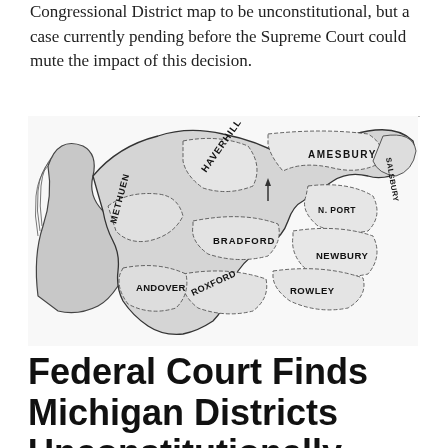Congressional District map to be unconstitutional, but a case currently pending before the Supreme Court could mute the impact of this decision.
[Figure (illustration): The original Gerrymander political cartoon — a salamander-shaped electoral district map of Essex County, Massachusetts, labeled with town names including Methuen, Haverhill, Amesbury, Salsbury, N. Port, Newbury, Rowley, Roxford, Bradford, and Andover.]
Federal Court Finds Michigan Districts Unconstitutionally